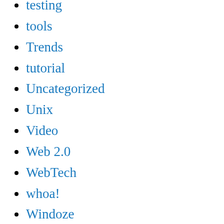testing
tools
Trends
tutorial
Uncategorized
Unix
Video
Web 2.0
WebTech
whoa!
Windoze
WordPress
WordPressMU
workarounds
WTF
XAMPP
xhtml